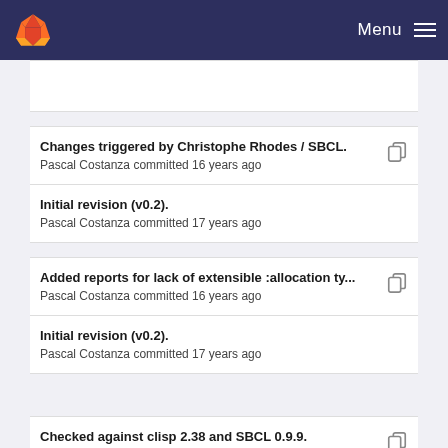Menu
Changes triggered by Christophe Rhodes / SBCL.
Pascal Costanza committed 16 years ago
Initial revision (v0.2).
Pascal Costanza committed 17 years ago
Added reports for lack of extensible :allocation ty...
Pascal Costanza committed 16 years ago
Initial revision (v0.2).
Pascal Costanza committed 17 years ago
Checked against clisp 2.38 and SBCL 0.9.9.
Pascal Costanza committed 16 years ago
Initial revision (v0.2).
Pascal Costanza committed 17 years ago